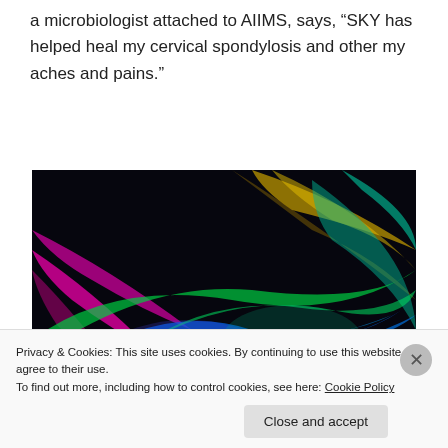a microbiologist attached to AIIMS, says, “SKY has helped heal my cervical spondylosis and other my aches and pains.”
[Figure (photo): Colorful glowing light streaks or smoke trails in pink, blue, green, yellow, orange, and teal against a dark black background, creating an abstract wave-like pattern.]
Privacy & Cookies: This site uses cookies. By continuing to use this website, you agree to their use.
To find out more, including how to control cookies, see here: Cookie Policy
Close and accept